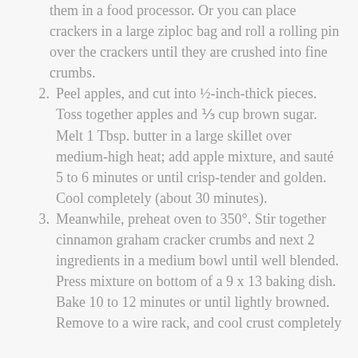them in a food processor. Or you can place crackers in a large ziploc bag and roll a rolling pin over the crackers until they are crushed into fine crumbs.
2. Peel apples, and cut into ½-inch-thick pieces. Toss together apples and ⅓ cup brown sugar. Melt 1 Tbsp. butter in a large skillet over medium-high heat; add apple mixture, and sauté 5 to 6 minutes or until crisp-tender and golden. Cool completely (about 30 minutes).
3. Meanwhile, preheat oven to 350°. Stir together cinnamon graham cracker crumbs and next 2 ingredients in a medium bowl until well blended. Press mixture on bottom of a 9 x 13 baking dish. Bake 10 to 12 minutes or until lightly browned. Remove to a wire rack, and cool crust completely